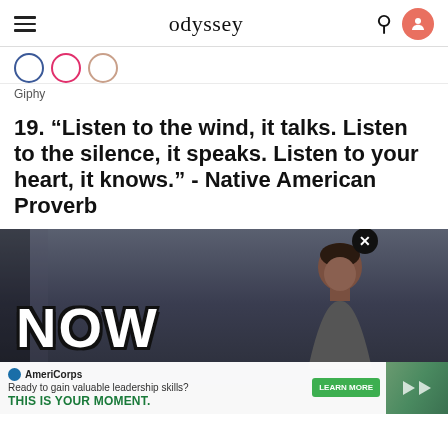odyssey
Giphy
19. “Listen to the wind, it talks. Listen to the silence, it speaks. Listen to your heart, it knows.” - Native American Proverb
[Figure (photo): Animated GIF showing the word NOW in large bold white outlined text, with a man in the background. An AmeriCorps advertisement banner appears at the bottom: 'Ready to gain valuable leadership skills? THIS IS YOUR MOMENT.' with a Learn More button.]